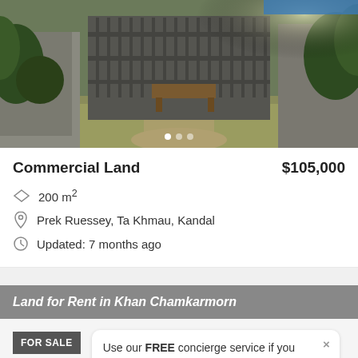[Figure (photo): Exterior photo of a property with overgrown grass, metal gate, and concrete walls with vegetation]
Commercial Land
$105,000
200 m²
Prek Ruessey, Ta Khmau, Kandal
Updated: 7 months ago
Land for Rent in Khan Chamkarmorn
FOR SALE
Use our FREE concierge service if you need help!